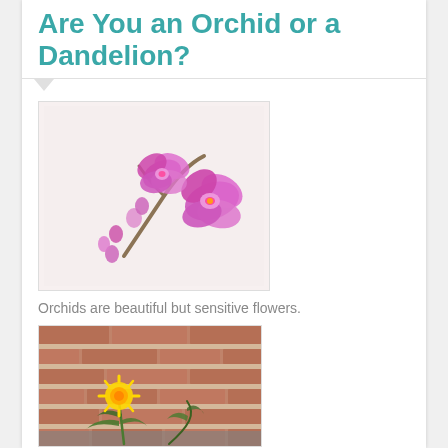Are You an Orchid or a Dandelion?
[Figure (photo): Pink/purple orchid flowers with buds on a branch against a light background]
Orchids are beautiful but sensitive flowers.
[Figure (photo): A yellow dandelion growing from cracks in concrete against a red brick wall background]